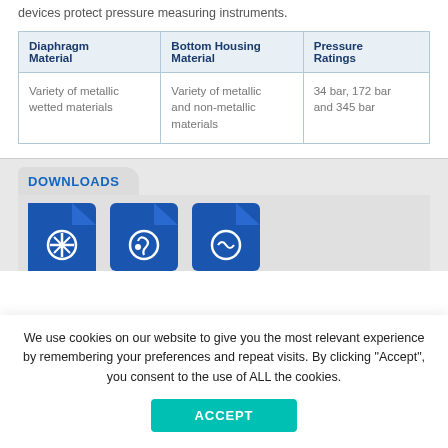devices protect pressure measuring instruments.
| Diaphragm Material | Bottom Housing Material | Pressure Ratings |
| --- | --- | --- |
| Variety of metallic wetted materials | Variety of metallic and non-metallic materials | 34 bar, 172 bar and 345 bar |
DOWNLOADS
[Figure (illustration): Three blue document/icon tiles for downloads section]
We use cookies on our website to give you the most relevant experience by remembering your preferences and repeat visits. By clicking "Accept", you consent to the use of ALL the cookies.
ACCEPT